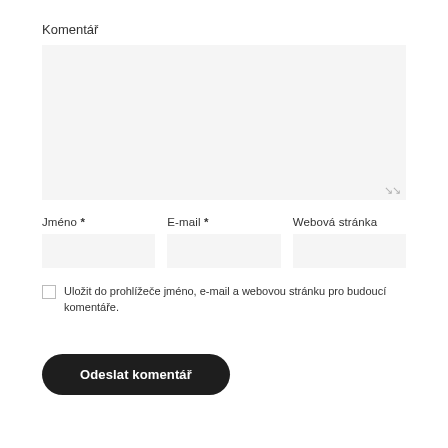Komentář
[Figure (screenshot): Large textarea input box with light gray background and resize handle in bottom right corner]
Jméno *
E-mail *
Webová stránka
[Figure (screenshot): Three side-by-side text input fields for Jméno, E-mail, and Webová stránka]
Uložit do prohlížeče jméno, e-mail a webovou stránku pro budoucí komentáře.
Odeslat komentář